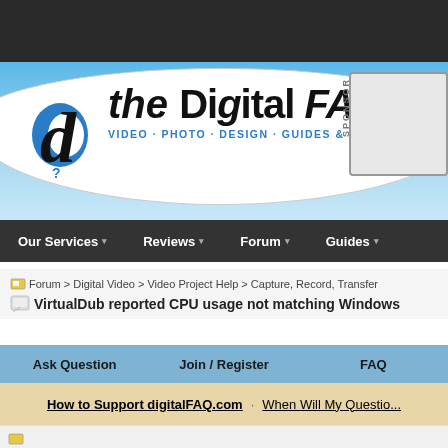[Figure (screenshot): Dark top navigation bar area]
[Figure (logo): The Digital FAQ logo with blue gradient header background, white oval, italic 'd' logo mark, bold text 'the Digital FAQ', subtitle 'VIDEO · PHOTO · DESIGN · GUIDES & SERVICES', and SPONSOR box on right]
Our Services ▾   Reviews ▾   Forum ▾   Guides ▾
Forum > Digital Video > Video Project Help > Capture, Record, Transfer
VirtualDub reported CPU usage not matching Windows
Ask Question   Join / Register   FAQ
How to Support digitalFAQ.com · When Will My Question...